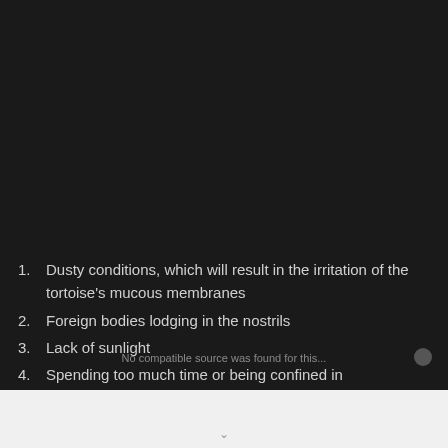1. Dusty conditions, which will result in the irritation of the tortoise's mucous membranes
2. Foreign bodies lodging in the nostrils
3. Lack of sunlight
4. Spending too much time or being confined in